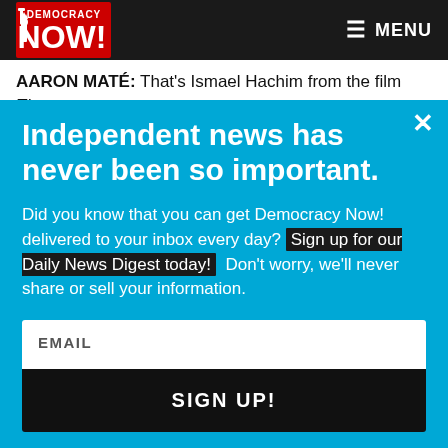Democracy Now! — MENU
AARON MATÉ: That's Ismael Hachim from the film The Dictator Hunter. Reed, can you talk to us about the role…
Independent news has never been so important.
Did you know that you can get Democracy Now! delivered to your inbox every day? Sign up for our Daily News Digest today! Don't worry, we'll never share or sell your information.
EMAIL
SIGN UP!